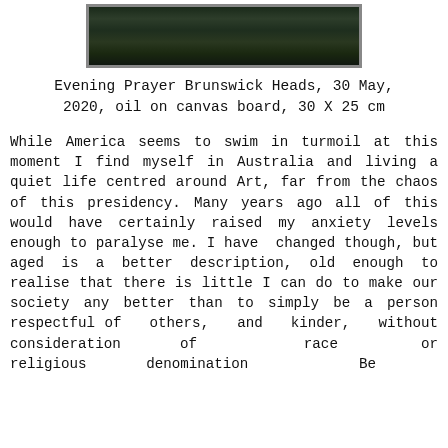[Figure (photo): Painting of an evening seascape/landscape at Brunswick Heads, dark greens and blacks suggesting water and land at dusk]
Evening Prayer Brunswick Heads, 30 May, 2020, oil on canvas board, 30 X 25 cm
While America seems to swim in turmoil at this moment I find myself in Australia and living a quiet life centred around Art, far from the chaos of this presidency. Many years ago all of this would have certainly raised my anxiety levels enough to paralyse me. I have changed though, but aged is a better description, old enough to realise that there is little I can do to make our society any better than to simply be a person respectful of others, and kinder, without consideration of race or religious denomination. Be